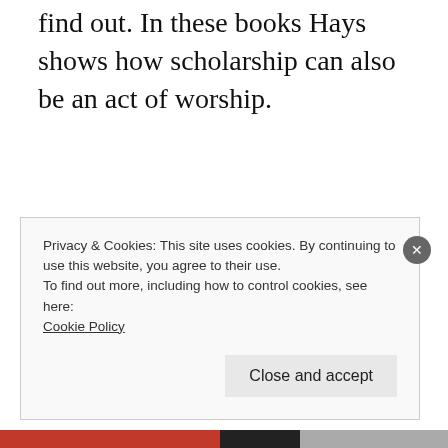find out. In these books Hays shows how scholarship can also be an act of worship.
Interview #6:
Aviya Kushner
The Grammar of God: A Journey into the Words
Privacy & Cookies: This site uses cookies. By continuing to use this website, you agree to their use.
To find out more, including how to control cookies, see here:
Cookie Policy
Close and accept